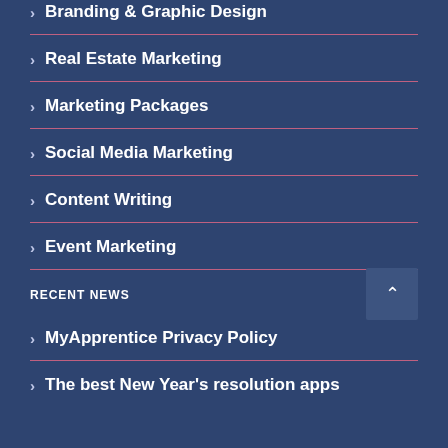Branding & Graphic Design
Real Estate Marketing
Marketing Packages
Social Media Marketing
Content Writing
Event Marketing
RECENT NEWS
MyApprentice Privacy Policy
The best New Year's resolution apps